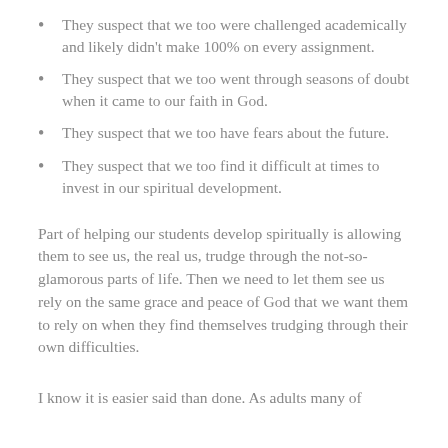They suspect that we too were challenged academically and likely didn't make 100% on every assignment.
They suspect that we too went through seasons of doubt when it came to our faith in God.
They suspect that we too have fears about the future.
They suspect that we too find it difficult at times to invest in our spiritual development.
Part of helping our students develop spiritually is allowing them to see us, the real us, trudge through the not-so-glamorous parts of life. Then we need to let them see us rely on the same grace and peace of God that we want them to rely on when they find themselves trudging through their own difficulties.
I know it is easier said than done. As adults many of